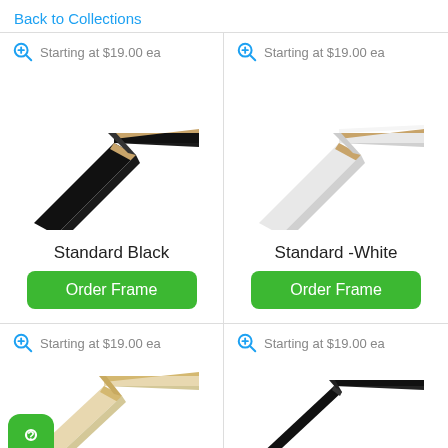Back to Collections
Starting at $19.00 ea
[Figure (photo): Corner sample of a black picture frame moulding]
Standard Black
Order Frame
Starting at $19.00 ea
[Figure (photo): Corner sample of a white picture frame moulding]
Standard -White
Order Frame
Starting at $19.00 ea
[Figure (photo): Corner sample of a natural/light wood picture frame moulding]
Starting at $19.00 ea
[Figure (photo): Corner sample of a black metal/thin picture frame moulding]